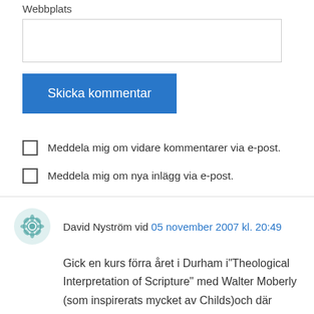Webbplats
Skicka kommentar
Meddela mig om vidare kommentarer via e-post.
Meddela mig om nya inlägg via e-post.
David Nyström vid 05 november 2007 kl. 20:49
Gick en kurs förra året i Durham i"Theological Interpretation of Scripture" med Walter Moberly (som inspirerats mycket av Childs)och där diskuterade vi the "canonical approach" ganska mycket. Jag tycker Childs inställning att